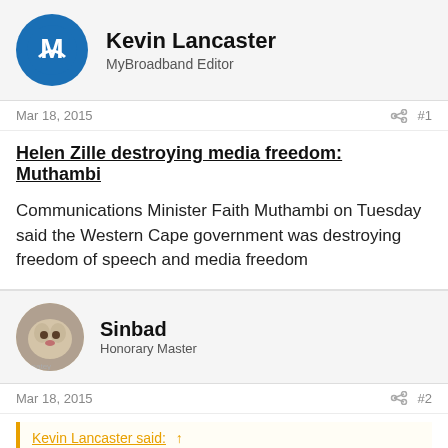Kevin Lancaster
MyBroadband Editor
Mar 18, 2015  #1
Helen Zille destroying media freedom: Muthambi
Communications Minister Faith Muthambi on Tuesday said the Western Cape government was destroying freedom of speech and media freedom
Sinbad
Honorary Master
Mar 18, 2015  #2
Kevin Lancaster said:
Helen Zille destroying media freedom: Muthambi
Communications Minister Faith Muthambi on Tuesday said the